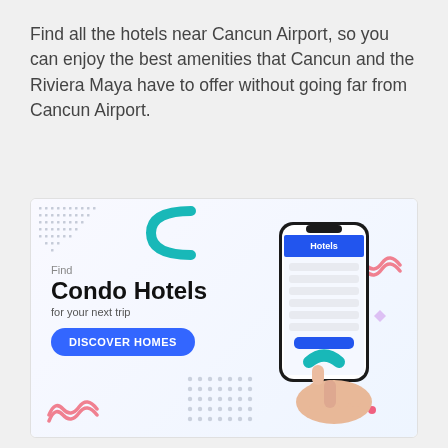Find all the hotels near Cancun Airport, so you can enjoy the best amenities that Cancun and the Riviera Maya have to offer without going far from Cancun Airport.
[Figure (infographic): Advertisement banner for Condo Hotels app. Shows 'Find Condo Hotels for your next trip' with a 'DISCOVER HOMES' blue button, decorative elements (teal arc, pink wavy lines, dot patterns, diamond shapes), and a hand holding a smartphone displaying a Hotels search screen.]